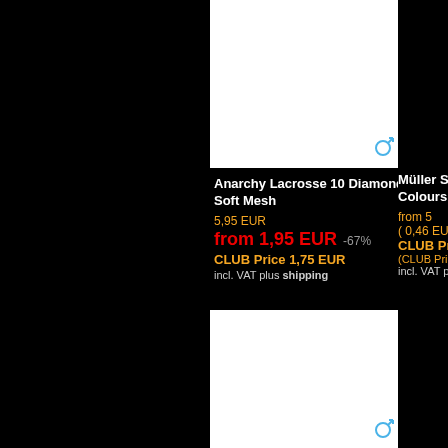[Figure (photo): White product image area for Anarchy Lacrosse 10 Diamond Soft Mesh, top center card]
Anarchy Lacrosse 10 Diamond Soft Mesh
5,95 EUR
from 1,95 EUR -67%
CLUB Price 1,75 EUR
incl. VAT plus shipping
Müller S… Colours…
from 5…
( 0,46 EU…
CLUB Pr…
(CLUB Pri…
incl. VAT p…
[Figure (photo): White product image area for bottom center card]